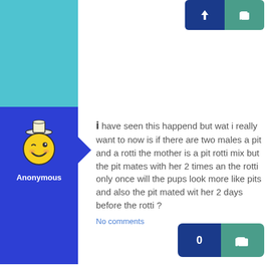[Figure (screenshot): Top partial post section with teal avatar block and vote buttons (thumbs up) partially visible at top of page]
[Figure (illustration): Blue avatar block with winking smiley face mascot wearing a hat, with right-pointing arrow shape]
Anonymous
i have seen this happend but wat i really want to now is if there are two males a pit and a rotti the mother is a pit rotti mix but the pit mates with her 2 times an the rotti only once will the pups look more like pits and also the pit mated wit her 2 days before the rotti ?
No comments